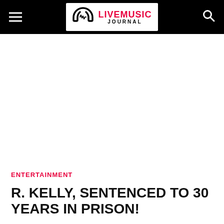LIVEMUSIC JOURNAL
ENTERTAINMENT
R. KELLY, SENTENCED TO 30 YEARS IN PRISON!